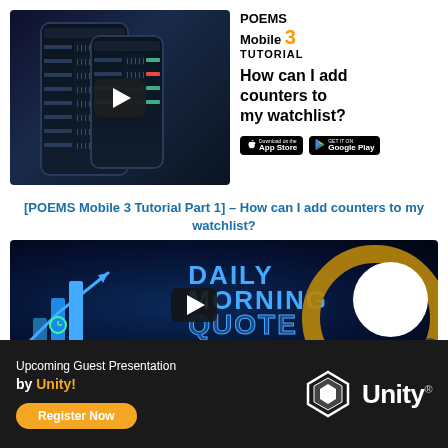[Figure (screenshot): POEMS Mobile 3 app screenshot showing trading watchlist on smartphone]
POEMS Mobile 3 TUTORIAL
How can I add counters to my watchlist?
[Figure (screenshot): App Store and Google Play download badges]
[POEMS Mobile 3 Tutorial Part 1] – How can I add counters to my watchlist?
[Figure (screenshot): Daily Morning Quote video thumbnail with blue financial chart graphics]
Upcoming Guest Presentation by Unity!
Register Now